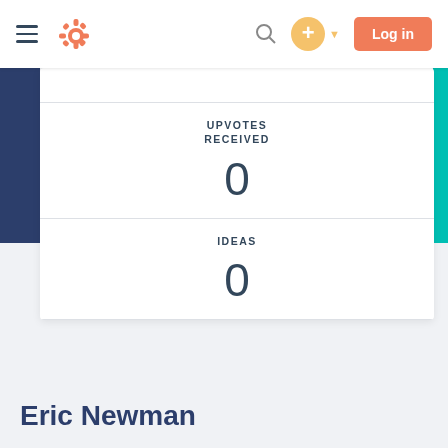HubSpot community navigation bar with hamburger menu, logo, search, add button, and Log in button
UPVOTES RECEIVED
0
IDEAS
0
Eric Newman